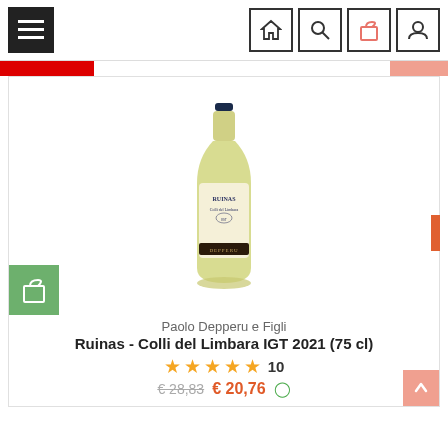[Figure (screenshot): Navigation bar with hamburger menu icon on the left and four icon buttons (home, search, bag, user) on the right]
[Figure (photo): White wine bottle - Ruinas Colli del Limbara IGT 2021 by Paolo Depperu e Figli, with dark navy cap and ornate label]
Paolo Depperu e Figli
Ruinas - Colli del Limbara IGT 2021 (75 cl)
★★★★★ 10
€ 28,83  € 20,76